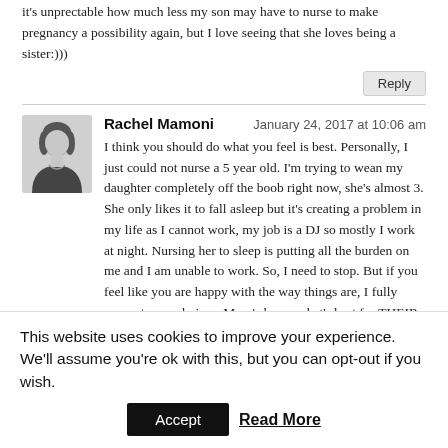it's unprectable how much less my son may have to nurse to make pregnancy a possibility again, but I love seeing that she loves being a sister:)))
Reply
[Figure (illustration): Generic user avatar silhouette in grayscale, showing a person with dark hair and light shirt]
Rachel Mamoni
January 24, 2017 at 10:06 am
I think you should do what you feel is best. Personally, I just could not nurse a 5 year old. I'm trying to wean my daughter completely off the boob right now, she's almost 3. She only likes it to fall asleep but it's creating a problem in my life as I cannot work, my job is a DJ so mostly I work at night. Nursing her to sleep is putting all the burden on me and I am unable to work. So, I need to stop. But if you feel like you are happy with the way things are, I fully support your choices. Mum's know what's best for THEIR children <3 Lots of love to you xxx
Reply
This website uses cookies to improve your experience. We'll assume you're ok with this, but you can opt-out if you wish.
Accept
Read More